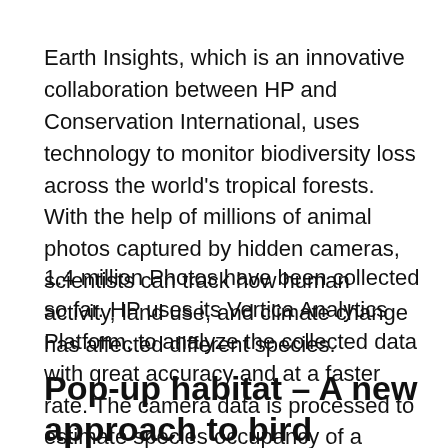Earth Insights, which is an innovative collaboration between HP and Conservation International, uses technology to monitor biodiversity loss across the world's tropical forests. With the help of millions of animal photos captured by hidden cameras, scientists can track how human activity, land use, and climate change has affected different species.
1.4 million Photos have been collected so far. HP uses its Vertica Analytics Platform, to analyze the collected data with great accuracy and at a faster rate. The camera data is processed to estimate species occupancy of a certain area.
Pop-up habitat – A new approach to bird